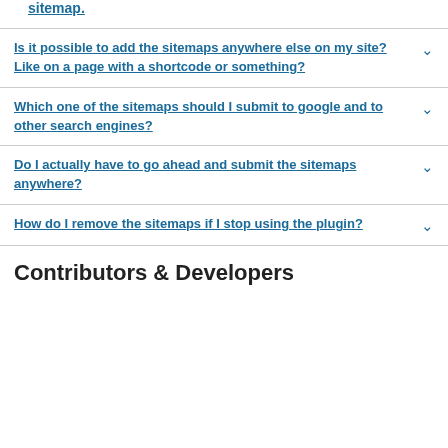sitemap.
Is it possible to add the sitemaps anywhere else on my site? Like on a page with a shortcode or something?
Which one of the sitemaps should I submit to google and to other search engines?
Do I actually have to go ahead and submit the sitemaps anywhere?
How do I remove the sitemaps if I stop using the plugin?
Contributors & Developers